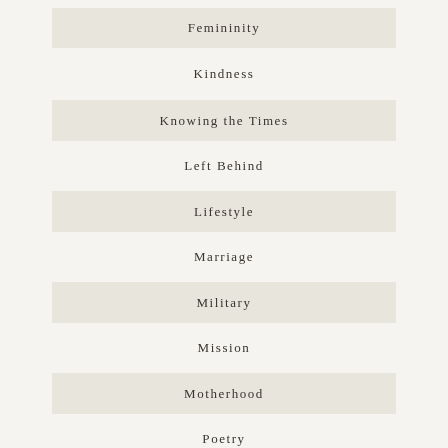Femininity
Kindness
Knowing the Times
Left Behind
Lifestyle
Marriage
Military
Mission
Motherhood
Poetry